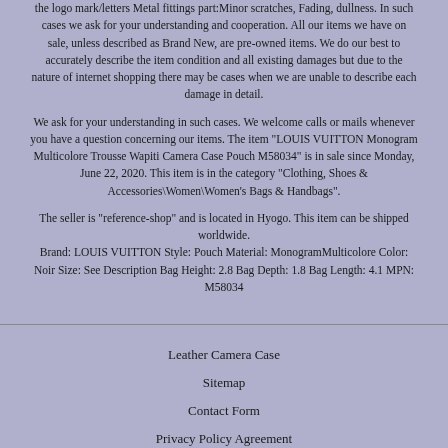the logo mark/letters Metal fittings part:Minor scratches, Fading, dullness. In such cases we ask for your understanding and cooperation. All our items we have on sale, unless described as Brand New, are pre-owned items. We do our best to accurately describe the item condition and all existing damages but due to the nature of internet shopping there may be cases when we are unable to describe each damage in detail.
We ask for your understanding in such cases. We welcome calls or mails whenever you have a question concerning our items. The item "LOUIS VUITTON Monogram Multicolore Trousse Wapiti Camera Case Pouch M58034" is in sale since Monday, June 22, 2020. This item is in the category "Clothing, Shoes & Accessories\Women\Women's Bags & Handbags".
The seller is "reference-shop" and is located in Hyogo. This item can be shipped worldwide. Brand: LOUIS VUITTON Style: Pouch Material: MonogramMulticolore Color: Noir Size: See Description Bag Height: 2.8 Bag Depth: 1.8 Bag Length: 4.1 MPN: M58034
Leather Camera Case
Sitemap
Contact Form
Privacy Policy Agreement